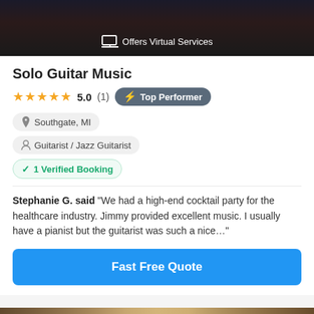[Figure (screenshot): Dark background image of a performer with a laptop icon and 'Offers Virtual Services' text overlay at the bottom]
Solo Guitar Music
★★★★★ 5.0 (1) Top Performer
Southgate, MI
Guitarist / Jazz Guitarist
1 Verified Booking
Stephanie G. said "We had a high-end cocktail party for the healthcare industry. Jimmy provided excellent music. I usually have a pianist but the guitarist was such a nice..."
Fast Free Quote
[Figure (photo): Featured image showing an indoor room scene with warm lighting, with a blue FEATURED badge overlay]